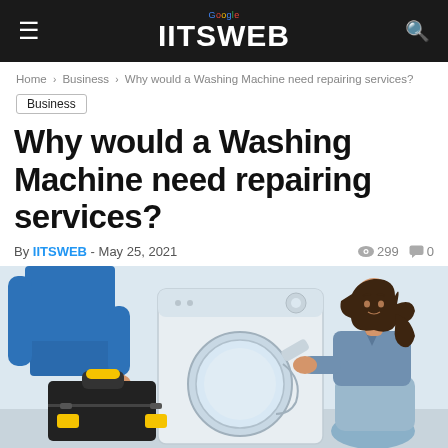IITSWEB
Home › Business › Why would a Washing Machine need repairing services?
Business
Why would a Washing Machine need repairing services?
By IITSWEB - May 25, 2021  299  0
[Figure (photo): A technician in blue uniform holding a black toolbox with yellow latches on the left, and a woman kneeling beside an open front-loading washing machine on the right.]